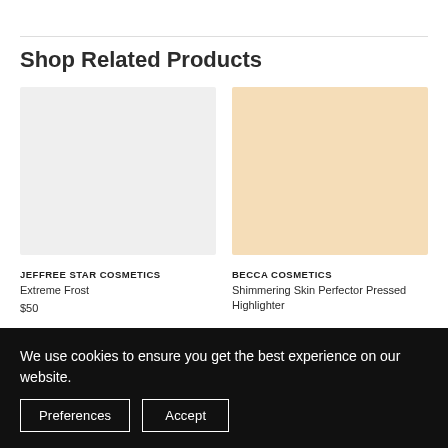Shop Related Products
[Figure (photo): Product image for Jeffree Star Cosmetics Extreme Frost — light gray square placeholder image]
JEFFREE STAR COSMETICS
Extreme Frost
$50
[Figure (photo): Product image for Becca Cosmetics Shimmering Skin Perfector Pressed Highlighter — light peach/beige square placeholder image]
BECCA COSMETICS
Shimmering Skin Perfector Pressed Highlighter
We use cookies to ensure you get the best experience on our website.
Preferences
Accept